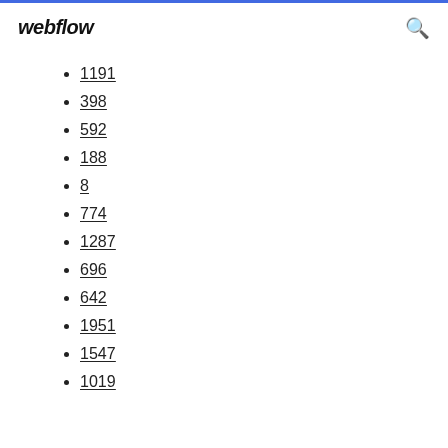webflow
1191
398
592
188
8
774
1287
696
642
1951
1547
1019